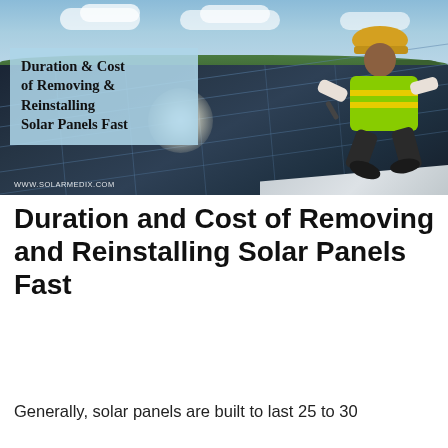[Figure (photo): A worker in a yellow hard hat and high-visibility vest crouching on a rooftop installing or removing solar panels, with blue sky and clouds in the background. Text overlay reads 'Duration & Cost of Removing & Reinstalling Solar Panels Fast' on a light blue semi-transparent box. URL watermark: www.solarmedix.com]
Duration and Cost of Removing and Reinstalling Solar Panels Fast
Generally, solar panels are built to last 25 to 30